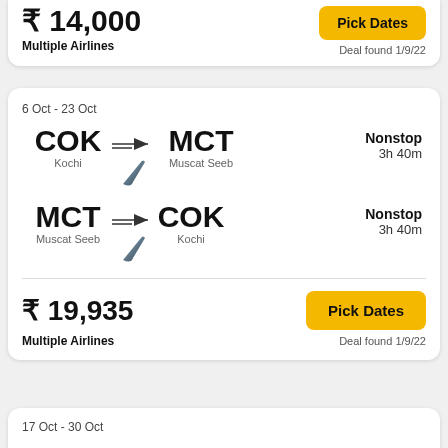Multiple Airlines
Deal found 1/9/22
6 Oct - 23 Oct
COK Kochi → MCT Muscat Seeb | Nonstop 3h 40m
MCT Muscat Seeb → COK Kochi | Nonstop 3h 40m
₹ 19,935
Multiple Airlines
Pick Dates
Deal found 1/9/22
17 Oct - 30 Oct